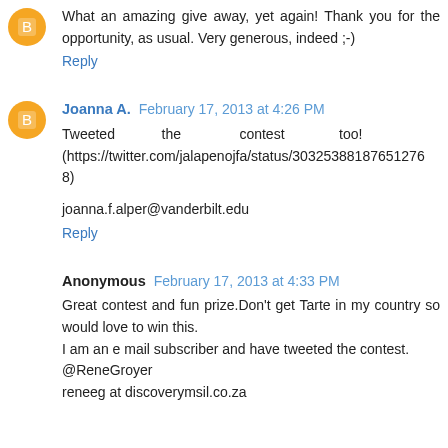What an amazing give away, yet again! Thank you for the opportunity, as usual. Very generous, indeed ;-)
Reply
Joanna A.  February 17, 2013 at 4:26 PM
Tweeted the contest too! (https://twitter.com/jalapenojfa/status/30325388187651276 8)
joanna.f.alper@vanderbilt.edu
Reply
Anonymous  February 17, 2013 at 4:33 PM
Great contest and fun prize.Don't get Tarte in my country so would love to win this.
I am an e mail subscriber and have tweeted the contest.
@ReneGroyer
reneeg at discoverymsil.co.za